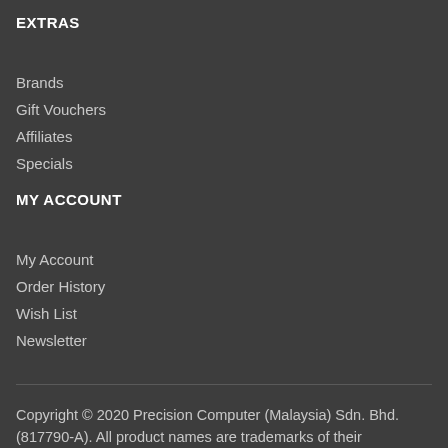EXTRAS
Brands
Gift Vouchers
Affiliates
Specials
MY ACCOUNT
My Account
Order History
Wish List
Newsletter
Copyright © 2020 Precision Computer (Malaysia) Sdn. Bhd. (817790-A). All product names are trademarks of their